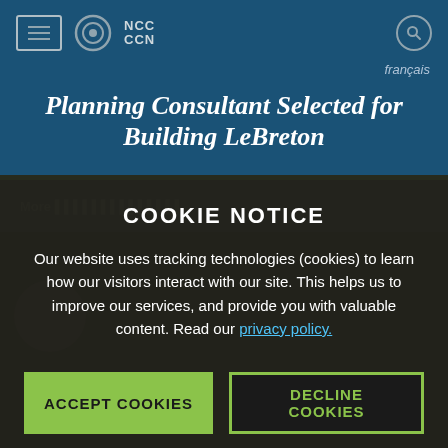NCC CCN — français
Planning Consultant Selected for Building LeBreton
COOKIE NOTICE
Our website uses tracking technologies (cookies) to learn how our visitors interact with our site. This helps us to improve our services, and provide you with valuable content. Read our privacy policy.
ACCEPT COOKIES
DECLINE COOKIES